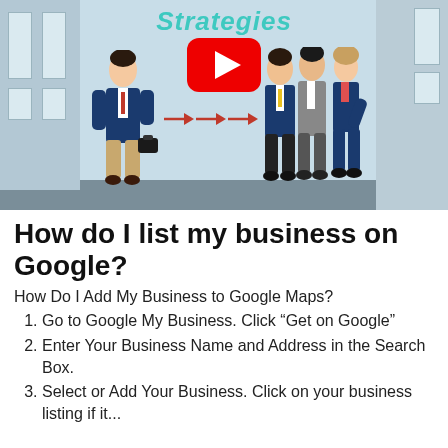[Figure (screenshot): YouTube video thumbnail showing animated business people with arrows, text 'Strategies' in teal at top, YouTube red play button in center, city background]
How do I list my business on Google?
How Do I Add My Business to Google Maps?
Go to Google My Business. Click “Get on Google”
Enter Your Business Name and Address in the Search Box.
Select or Add Your Business. Click on your business listing if it...